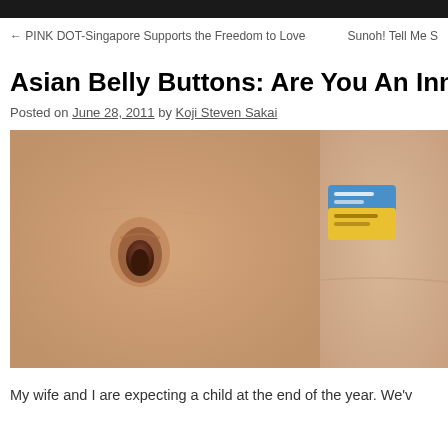← PINK DOT-Singapore Supports the Freedom to Love    Sunoh! Tell Me S
Asian Belly Buttons: Are You An Innie or
Posted on June 28, 2011 by Koji Steven Sakai
[Figure (photo): Two side-by-side close-up photos: left shows a human navel (innie belly button) on skin, right shows another person's abdomen with a colorful badge/sticker]
My wife and I are expecting a child at the end of the year. We'v